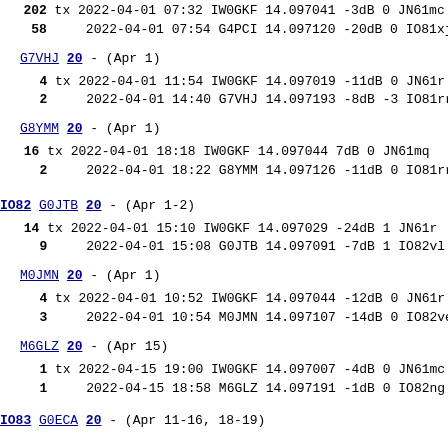202 tx 2022-04-01 07:32 IW0GKF 14.097041 -3dB 0 JN61mc
58     2022-04-01 07:54 G4PCI 14.097120 -20dB 0 IO81xj
G7VHJ 20 - (Apr 1)
4 tx 2022-04-01 11:54 IW0GKF 14.097019 -11dB 0 JN61r
2     2022-04-01 14:40 G7VHJ 14.097193 -8dB -3 IO81rr
G8YMM 20 - (Apr 1)
16 tx 2022-04-01 18:18 IW0GKF 14.097044 7dB 0 JN61mq
2     2022-04-01 18:22 G8YMM 14.097126 -11dB 0 IO81rr
IO82 G0JTB 20 - (Apr 1-2)
14 tx 2022-04-01 15:10 IW0GKF 14.097029 -24dB 1 JN61r
9     2022-04-01 15:08 G0JTB 14.097091 -7dB 1 IO82vl
M0JMN 20 - (Apr 1)
4 tx 2022-04-01 10:52 IW0GKF 14.097044 -12dB 0 JN61r
3     2022-04-01 10:54 M0JMN 14.097107 -14dB 0 IO82ve
M6GLZ 20 - (Apr 15)
1 tx 2022-04-15 19:00 IW0GKF 14.097007 -4dB 0 JN61mc
1     2022-04-15 18:58 M6GLZ 14.097191 -1dB 0 IO82ng
IO83 G0ECA 20 - (Apr 11-16, 18-19)